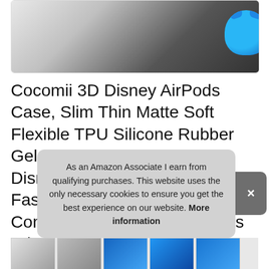[Figure (photo): Partial product image showing a blue Stitch figure against a dark textured background (person wearing dark clothing)]
Cocomii 3D Disney AirPods Case, Slim Thin Matte Soft Flexible TPU Silicone Rubber Gel with Keychain Ring 3D Disney Characters Cartoon Fashion Case Bumper Cover Compatible with Apple AirPods Stitch
#ad
As an Amazon Associate I earn from qualifying purchases. This website uses the only necessary cookies to ensure you get the best experience on our website. More information
[Figure (photo): Thumbnail strip of product images showing multiple views of the Stitch AirPods case]